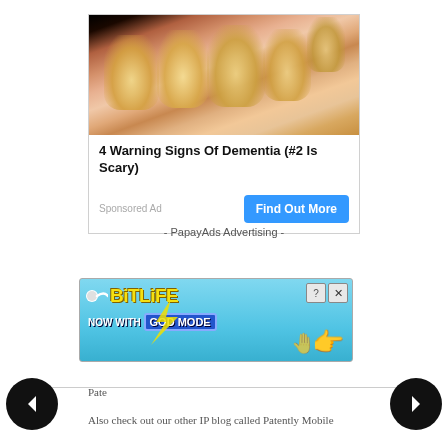[Figure (photo): Close-up photo of a hand showing fingers with yellowed fingernails]
4 Warning Signs Of Dementia (#2 Is Scary)
Sponsored Ad
Find Out More
- PapayAds Advertising -
[Figure (screenshot): BitLife advertisement banner — NOW WITH GOD MODE — with cartoon sperm logo and pointing hand icons]
Pate
Also check out our other IP blog called Patently Mobile